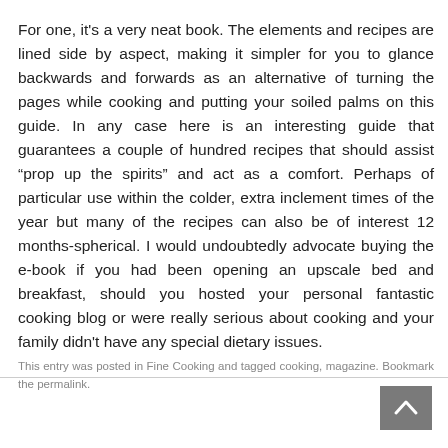For one, it's a very neat book. The elements and recipes are lined side by aspect, making it simpler for you to glance backwards and forwards as an alternative of turning the pages while cooking and putting your soiled palms on this guide. In any case here is an interesting guide that guarantees a couple of hundred recipes that should assist “prop up the spirits” and act as a comfort. Perhaps of particular use within the colder, extra inclement times of the year but many of the recipes can also be of interest 12 months-spherical. I would undoubtedly advocate buying the e-book if you had been opening an upscale bed and breakfast, should you hosted your personal fantastic cooking blog or were really serious about cooking and your family didn’t have any special dietary issues.
This entry was posted in Fine Cooking and tagged cooking, magazine. Bookmark the permalink.